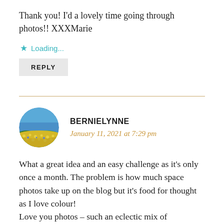Thank you! I'd a lovely time going through photos!! XXXMarie
Loading...
REPLY
BERNIELYNNE
January 11, 2021 at 7:29 pm
What a great idea and an easy challenge as it's only once a month. The problem is how much space photos take up on the blog but it's food for thought as I love colour!
Love you photos – such an eclectic mix of